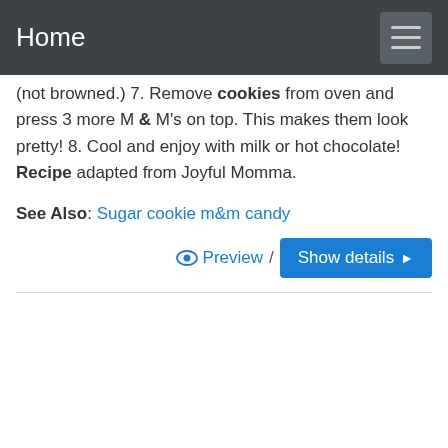Home
(not browned.) 7. Remove cookies from oven and press 3 more M & M's on top. This makes them look pretty! 8. Cool and enjoy with milk or hot chocolate! Recipe adapted from Joyful Momma.
See Also: Sugar cookie m&m candy
Preview / Show details